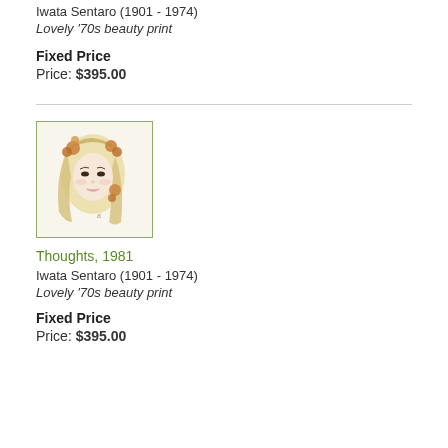Iwata Sentaro (1901 - 1974)
Lovely '70s beauty print
Fixed Price
Price: $395.00
[Figure (illustration): Japanese beauty print showing a young woman's face with flowing blonde hair decorated with golden/orange floral ornaments, delicate facial features, illustrated in a soft 1970s style]
Thoughts, 1981
Iwata Sentaro (1901 - 1974)
Lovely '70s beauty print
Fixed Price
Price: $395.00